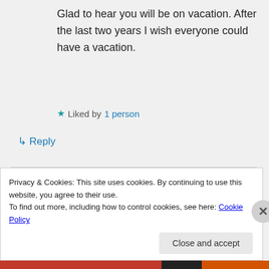Glad to hear you will be on vacation. After the last two years I wish everyone could have a vacation.
Liked by 1 person
↳ Reply
Susi Bocks on April 9, 2022 at 9:56 pm
Thanks, looking forward to it. 🙂 You're right! I wish everyone could.
Privacy & Cookies: This site uses cookies. By continuing to use this website, you agree to their use.
To find out more, including how to control cookies, see here: Cookie Policy
Close and accept